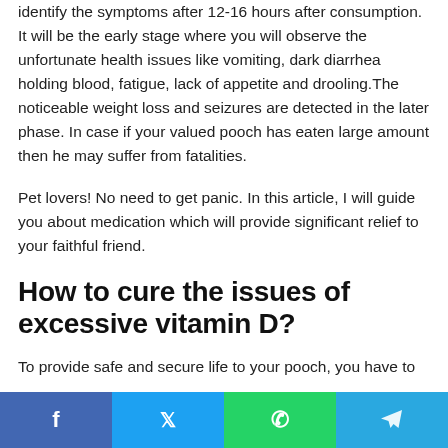identify the symptoms after 12-16 hours after consumption. It will be the early stage where you will observe the unfortunate health issues like vomiting, dark diarrhea holding blood, fatigue, lack of appetite and drooling.The noticeable weight loss and seizures are detected in the later phase. In case if your valued pooch has eaten large amount then he may suffer from fatalities.
Pet lovers! No need to get panic. In this article, I will guide you about medication which will provide significant relief to your faithful friend.
How to cure the issues of excessive vitamin D?
To provide safe and secure life to your pooch, you have to